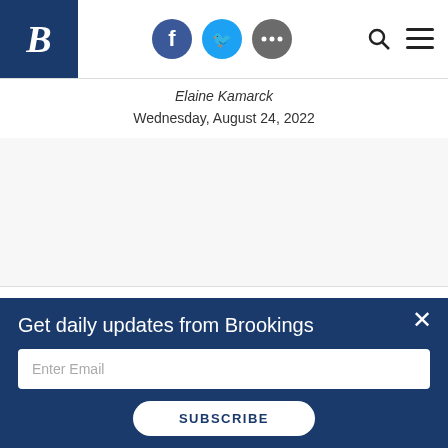Brookings Institution navigation bar with logo B, social icons (Facebook, Twitter, more), search and menu
Elaine Kamarck
Wednesday, August 24, 2022
[Figure (logo): BROOKINGS text logo in dark navy serif font]
[Figure (infographic): Social media icons row: Facebook (dark blue), Twitter (light blue), YouTube (red), Podcast (purple), Email (dark blue), RSS (orange)]
Get daily updates from Brookings
Enter Email
SUBSCRIBE